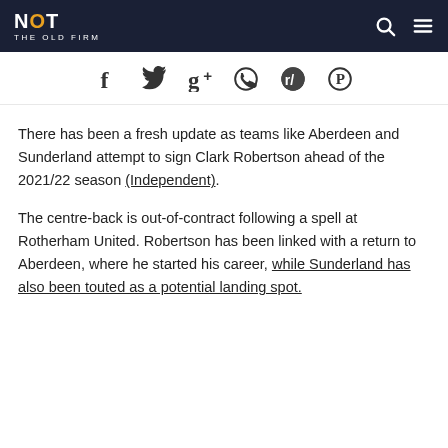NOT THE OLD FIRM
[Figure (screenshot): Social share icons row: Facebook, Twitter, Google+, WhatsApp, Reddit, Pinterest]
There has been a fresh update as teams like Aberdeen and Sunderland attempt to sign Clark Robertson ahead of the 2021/22 season (Independent).
The centre-back is out-of-contract following a spell at Rotherham United. Robertson has been linked with a return to Aberdeen, where he started his career, while Sunderland has also been touted as a potential landing spot.